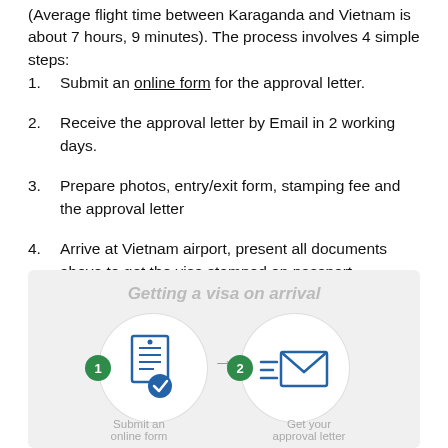(Average flight time between Karaganda and Vietnam is about 7 hours, 9 minutes). The process involves 4 simple steps:
1. Submit an online form for the approval letter.
2. Receive the approval letter by Email in 2 working days.
3. Prepare photos, entry/exit form, stamping fee and the approval letter
4. Arrive at Vietnam airport, present all documents above to get the visa stamped on passport.
[Figure (infographic): Infographic titled 'Getting a visa on arrival' showing 4 steps with icons. Step 1 (submit an online form) shows a document with checkmark icon. Step 2 (Get your approval letter) shows an email/envelope icon. Steps connected by arrows. Step numbers shown in green circles.]